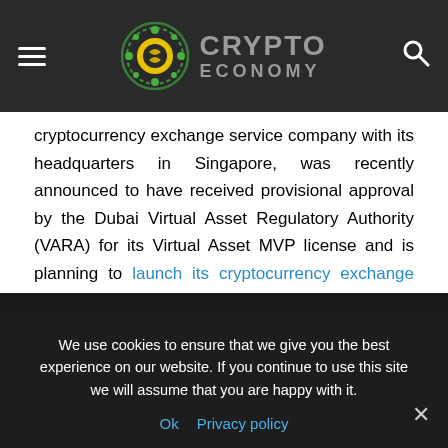CRYPTO ECONOMY
cryptocurrency exchange service company with its headquarters in Singapore, was recently announced to have received provisional approval by the Dubai Virtual Asset Regulatory Authority (VARA) for its Virtual Asset MVP license and is planning to launch its cryptocurrency exchange services in Dubai.
The company is becoming a great example for cryptocurrency businesses worldwide. It has tied many partnerships with other
We use cookies to ensure that we give you the best experience on our website. If you continue to use this site we will assume that you are happy with it.
Ok   Privacy policy